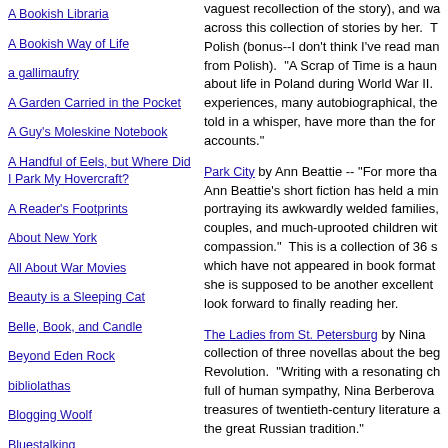A Bookish Libraria
A Bookish Way of Life
a gallimaufry
A Garden Carried in the Pocket
A Guy's Moleskine Notebook
A Handful of Eels, but Where Did I Park My Hovercraft?
A Reader's Footprints
About New York
All About War Movies
Beauty is a Sleeping Cat
Belle, Book, and Candle
Beyond Eden Rock
bibliolathas
Blogging Woolf
Bluestalking
Book Around The Corner
Book Chase
vaguest recollection of the story), and was across this collection of stories by her. T Polish (bonus--I don't think I've read man from Polish). "A Scrap of Time is a haun about life in Poland during World War II. experiences, many autobiographical, the told in a whisper, have more than the for accounts."
Park City by Ann Beattie -- "For more tha Ann Beattie's short fiction has held a min portraying its awkwardly welded families, couples, and much-uprooted children wit compassion." This is a collection of 36 s which have not appeared in book format she is supposed to be another excellent look forward to finally reading her.
The Ladies from St. Petersburg by Nina collection of three novellas about the beg Revolution. "Writing with a resonating ch full of human sympathy, Nina Berberova treasures of twentieth-century literature a the great Russian tradition."